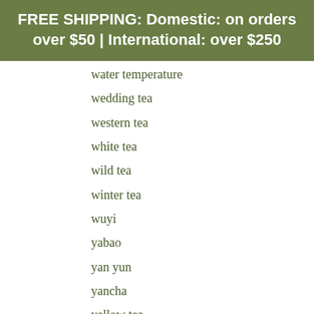FREE SHIPPING: Domestic: on orders over $50 | International: over $250
water temperature
wedding tea
western tea
white tea
wild tea
winter tea
wuyi
yabao
yan yun
yancha
yellow tea
yixing
yue guang bai